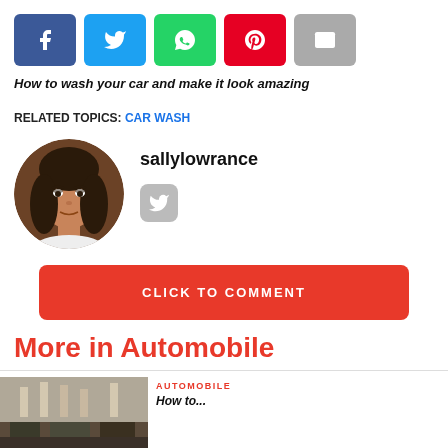[Figure (infographic): Social share buttons: Facebook (blue), Twitter (cyan), WhatsApp (green), Pinterest (red), Email (gray)]
How to wash your car and make it look amazing
RELATED TOPICS: CAR WASH
[Figure (photo): Circular profile photo of sallylowrance, a woman with dark hair]
sallylowrance
[Figure (logo): Twitter icon (gray rounded square)]
CLICK TO COMMENT
More in Automobile
[Figure (photo): Thumbnail image of an automobile workshop/garage scene]
AUTOMOBILE
How to...